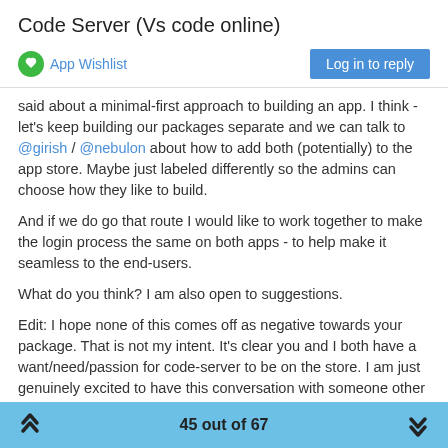Code Server (Vs code online)
App Wishlist
Log in to reply
said about a minimal-first approach to building an app. I think - let's keep building our packages separate and we can talk to @girish / @nebulon about how to add both (potentially) to the app store. Maybe just labeled differently so the admins can choose how they like to build.
And if we do go that route I would like to work together to make the login process the same on both apps - to help make it seamless to the end-users.
What do you think? I am also open to suggestions.
Edit: I hope none of this comes off as negative towards your package. That is not my intent. It's clear you and I both have a want/need/passion for code-server to be on the store. I am just genuinely excited to have this conversation with someone other than myself.
45 out of 67